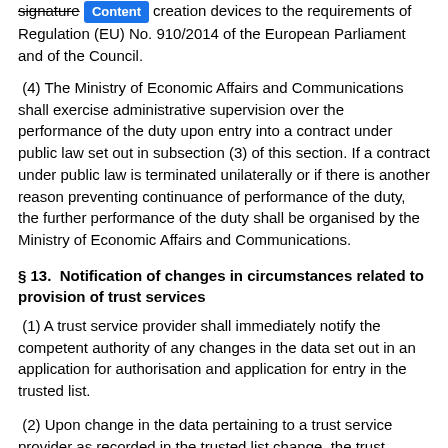signature creation devices to the requirements of Regulation (EU) No. 910/2014 of the European Parliament and of the Council.
(4) The Ministry of Economic Affairs and Communications shall exercise administrative supervision over the performance of the duty upon entry into a contract under public law set out in subsection (3) of this section. If a contract under public law is terminated unilaterally or if there is another reason preventing continuance of performance of the duty, the further performance of the duty shall be organised by the Ministry of Economic Affairs and Communications.
§ 13.  Notification of changes in circumstances related to provision of trust services
(1) A trust service provider shall immediately notify the competent authority of any changes in the data set out in an application for authorisation and application for entry in the trusted list.
(2) Upon change in the data pertaining to a trust service provider as recorded in the trusted list change, the trust service provider shall submit an application for amending the data, and the competent authority shall amend the trusted list within 14 days without the procedure set out in § 7 of this Act.